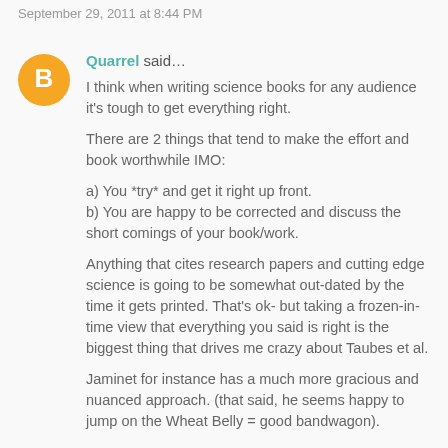September 29, 2011 at 8:44 PM
Quarrel said…

I think when writing science books for any audience it's tough to get everything right.

There are 2 things that tend to make the effort and book worthwhile IMO:

a) You *try* and get it right up front.
b) You are happy to be corrected and discuss the short comings of your book/work.

Anything that cites research papers and cutting edge science is going to be somewhat out-dated by the time it gets printed. That's ok- but taking a frozen-in-time view that everything you said is right is the biggest thing that drives me crazy about Taubes et al.

Jaminet for instance has a much more gracious and nuanced approach. (that said, he seems happy to jump on the Wheat Belly = good bandwagon).